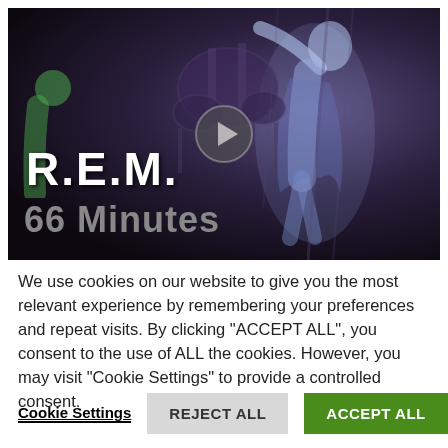[Figure (screenshot): Video thumbnail of R.E.M. concert footage showing a performer on stage with dark purple/blue tones, a play button overlay in the center, with 'R.E.M.' in large white bold text and '66 Minutes' in grey text overlaid on the lower left of the image.]
We use cookies on our website to give you the most relevant experience by remembering your preferences and repeat visits. By clicking "ACCEPT ALL", you consent to the use of ALL the cookies. However, you may visit "Cookie Settings" to provide a controlled consent.
Cookie Settings    REJECT ALL    ACCEPT ALL